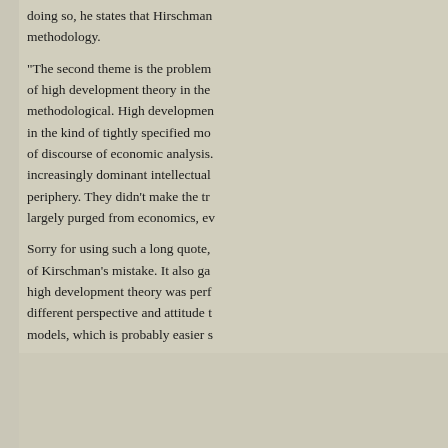doing so, he states that Hirschman methodology.

"The second theme is the problem of high development theory in the methodological. High development in the kind of tightly specified mo of discourse of economic analysis. increasingly dominant intellectual periphery. They didn't make the tr largely purged from economics, ev

Sorry for using such a long quote, of Kirschman's mistake. It also ga high development theory was perf different perspective and attitude t models, which is probably easier s
Posted by: Andrew Winter | 10
[Figure (illustration): Avatar image with blue wavy water/wave pattern on teal background]
I appreciated this article a lot. For clearly labeled his transitions. Sec the folklore and other examples he development theory, which encou neglect, is convincing. However, H